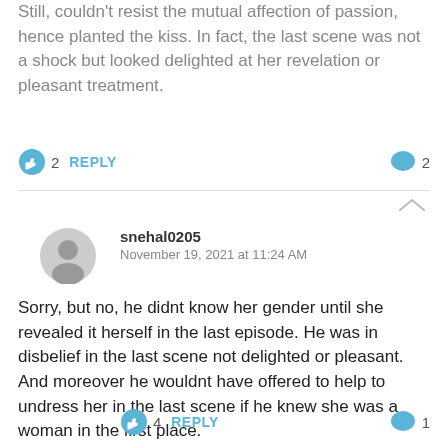Still, couldn't resist the mutual affection of passion, hence planted the kiss. In fact, the last scene was not a shock but looked delighted at her revelation or pleasant treatment.
👍 2   REPLY   💬 2
snehal0205
November 19, 2021 at 11:24 AM
Sorry, but no, he didnt know her gender until she revealed it herself in the last episode. He was in disbelief in the last scene not delighted or pleasant. And moreover he wouldnt have offered to help to undress her in the last scene if he knew she was a woman in the first place.
👍 4   REPLY   💬 1